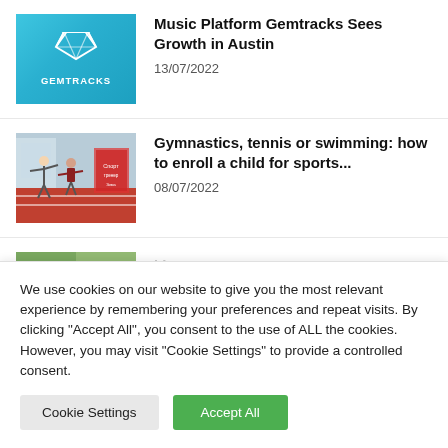[Figure (logo): Gemtracks logo: blue/teal gradient background with white diamond gem icon and 'GEMTRACKS' text below]
Music Platform Gemtracks Sees Growth in Austin
13/07/2022
[Figure (photo): Gymnastics/sports hall photo with people exercising, red track floor, indoor setting with banners]
Gymnastics, tennis or swimming: how to enroll a child for sports...
08/07/2022
[Figure (photo): Partially visible third article thumbnail (cropped)]
We use cookies on our website to give you the most relevant experience by remembering your preferences and repeat visits. By clicking “Accept All”, you consent to the use of ALL the cookies. However, you may visit "Cookie Settings" to provide a controlled consent.